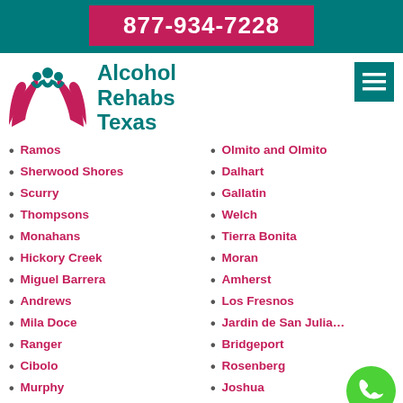877-934-7228
Alcohol Rehabs Texas
Ramos
Sherwood Shores
Scurry
Thompsons
Monahans
Hickory Creek
Miguel Barrera
Andrews
Mila Doce
Ranger
Cibolo
Murphy
Roanoke
Alto Bonito Heights
Olmito and Olmito
Dalhart
Gallatin
Welch
Tierra Bonita
Moran
Amherst
Los Fresnos
Jardin de San Julian
Bridgeport
Rosenberg
Joshua
Brownsville
Midway